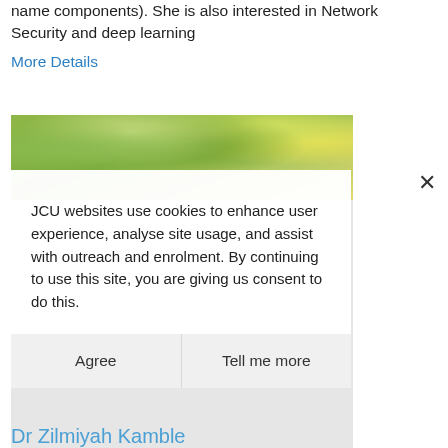name components). She is also interested in Network Security and deep learning
More Details
[Figure (photo): Strip photo showing tree canopy with green foliage and yellow highlights]
JCU websites use cookies to enhance user experience, analyse site usage, and assist with outreach and enrolment. By continuing to use this site, you are giving us consent to do this.
Agree
Tell me more
Dr Zilmiyah Kamble